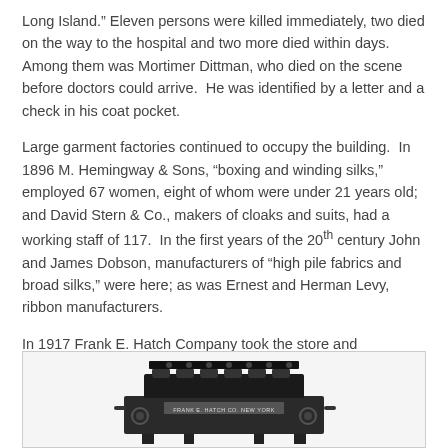Long Island.”  Eleven persons were killed immediately, two died on the way to the hospital and two more died within days.   Among them was Mortimer Dittman, who died on the scene before doctors could arrive.  He was identified by a letter and a check in his coat pocket.
Large garment factories continued to occupy the building.  In 1896 M. Hemingway & Sons, “boxing and winding silks,” employed 67 women, eight of whom were under 21 years old; and David Stern & Co., makers of cloaks and suits, had a working staff of 117.  In the first years of the 20th century John and James Dobson, manufacturers of “high pile fabrics and broad silks,” were here; as was Ernest and Herman Levy, ribbon manufacturers.
In 1917 Frank E. Hatch Company took the store and basement.  The firm invented, improved, manufactured and sold machinery related to the paper box industry.
[Figure (photo): Black and white photograph of a Frank E. Hatch Co. New York machine, partially visible at the bottom of the page.]